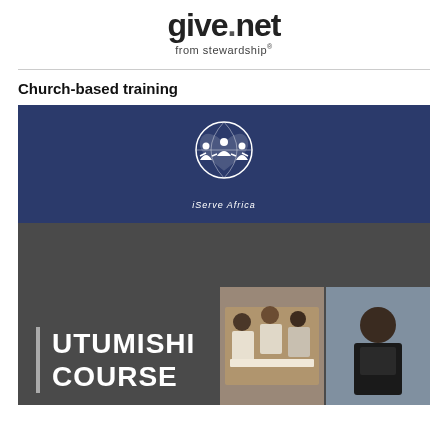give.net from stewardship
Church-based training
[Figure (photo): Top dark blue banner with iServe Africa logo (white figures holding hands in a heart shape with a globe, and text 'iServe Africa' below). Below it, a dark grey banner with 'UTUMISHI COURSE' text in white with a vertical line accent on the left, and two photographs on the right showing African church training participants.]